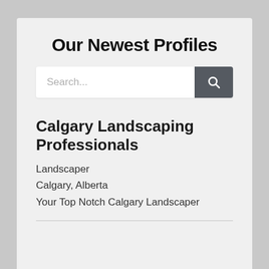Our Newest Profiles
[Figure (screenshot): Search bar with text placeholder 'Search...' and a dark grey search button with magnifying glass icon]
Calgary Landscaping Professionals
Landscaper
Calgary, Alberta
Your Top Notch Calgary Landscaper